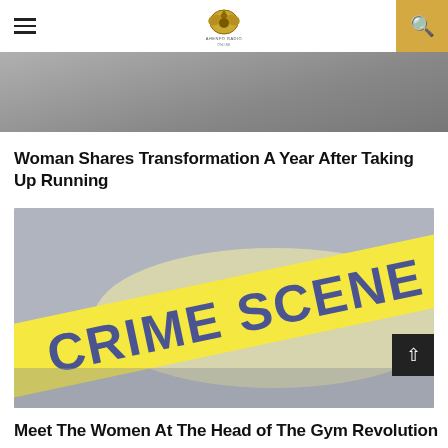Ahenfo Radio
[Figure (photo): Cropped top portion of an article image, gray background]
Woman Shares Transformation A Year After Taking Up Running
[Figure (photo): Crime scene do not cross yellow tape on a gray background]
Meet The Women At The Head of The Gym Revolution